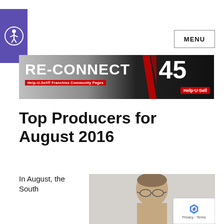[Figure (logo): Accessibility icon button - circular person icon on purple/indigo background]
MENU
[Figure (photo): RE-CONNECT banner advertisement for Help-U-Sell Franchise Community Pages, 45th anniversary, with images of real estate professionals]
Top Producers for August 2016
In August, the South
[Figure (photo): Portrait photo of a middle-aged man wearing glasses, balding, light background]